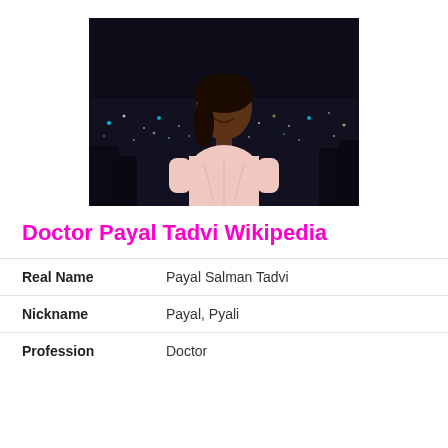[Figure (photo): Young woman smiling at night with city lights in the background, wearing a light pink top]
Doctor Payal Tadvi Wikipedia
| Real Name | Payal Salman Tadvi |
| Nickname | Payal, Pyali |
| Profession | Doctor |